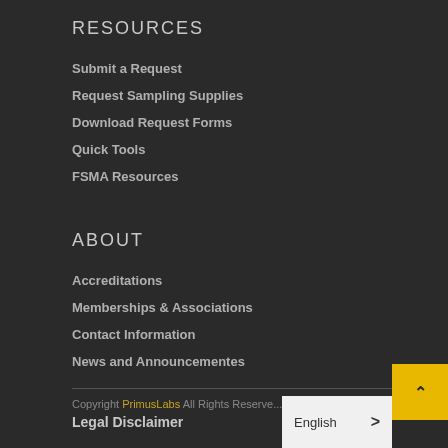RESOURCES
Submit a Request
Request Sampling Supplies
Download Request Forms
Quick Tools
FSMA Resources
ABOUT
Accreditations
Memberships & Associations
Contact Information
News and Announcementes
Copyright PrimusLabs All Rights Reserved | Legal Disclaimer
English